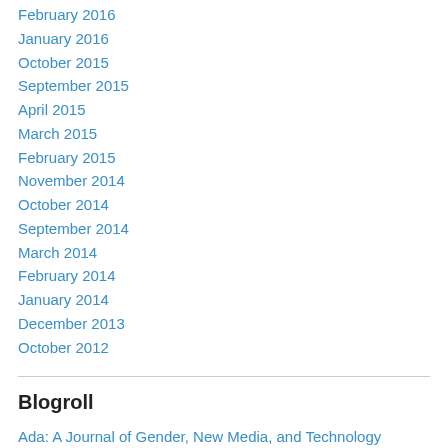February 2016
January 2016
October 2015
September 2015
April 2015
March 2015
February 2015
November 2014
October 2014
September 2014
March 2014
February 2014
January 2014
December 2013
October 2012
Blogroll
Ada: A Journal of Gender, New Media, and Technology